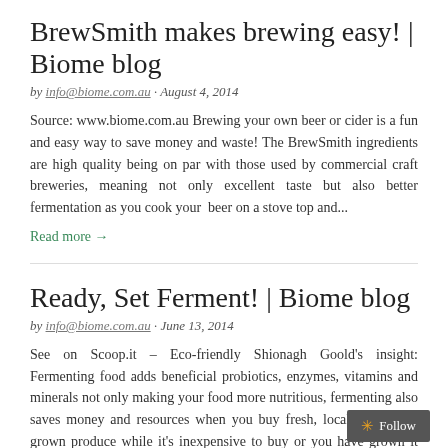BrewSmith makes brewing easy! | Biome blog
by info@biome.com.au · August 4, 2014
Source: www.biome.com.au Brewing your own beer or cider is a fun and easy way to save money and waste! The BrewSmith ingredients are high quality being on par with those used by commercial craft breweries, meaning not only excellent taste but also better fermentation as you cook your  beer on a stove top and...
Read more →
Ready, Set Ferment! | Biome blog
by info@biome.com.au · June 13, 2014
See on Scoop.it – Eco-friendly Shionagh Goold's insight: Fermenting food adds beneficial probiotics, enzymes, vitamins and minerals not only making your food more nutritious, fermenting also saves money and resources when you buy fresh, local, seasonally grown produce while it's inexpensive to buy or you have grown it yourself. Plus when you preserve or ferment...
Read more →